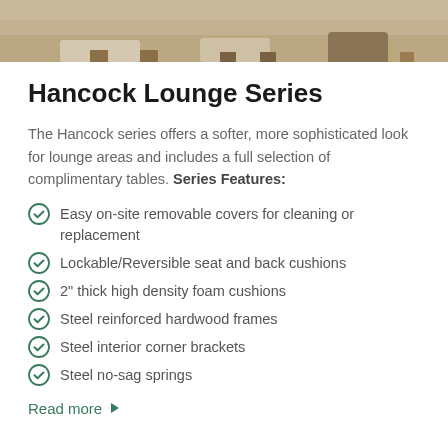[Figure (photo): Partial photo of Hancock Lounge Series furniture showing wood legs and fabric cushions]
Hancock Lounge Series
The Hancock series offers a softer, more sophisticated look for lounge areas and includes a full selection of complimentary tables. Series Features:
Easy on-site removable covers for cleaning or replacement
Lockable/Reversible seat and back cushions
2" thick high density foam cushions
Steel reinforced hardwood frames
Steel interior corner brackets
Steel no-sag springs
Read more ▶